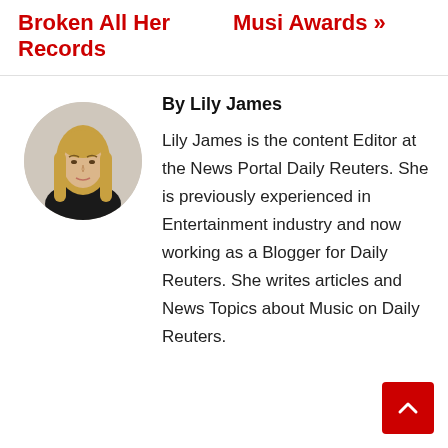Broken All Her Records
Musi Awards »
[Figure (photo): Circular portrait photo of Lily James, a woman with long blonde hair wearing a black top, against a light background.]
By Lily James
Lily James is the content Editor at the News Portal Daily Reuters. She is previously experienced in Entertainment industry and now working as a Blogger for Daily Reuters. She writes articles and News Topics about Music on Daily Reuters.